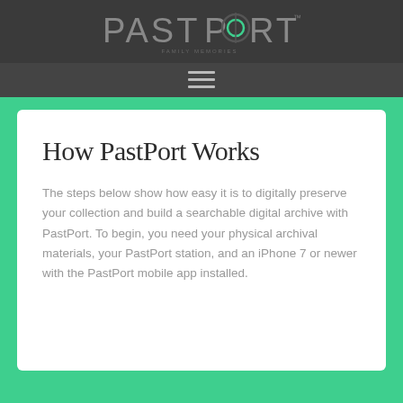PASTPORT
[Figure (logo): PastPort logo in grey with teal/green circular O element and cross-hair detail, on dark grey background]
How PastPort Works
The steps below show how easy it is to digitally preserve your collection and build a searchable digital archive with PastPort. To begin, you need your physical archival materials, your PastPort station, and an iPhone 7 or newer with the PastPort mobile app installed.